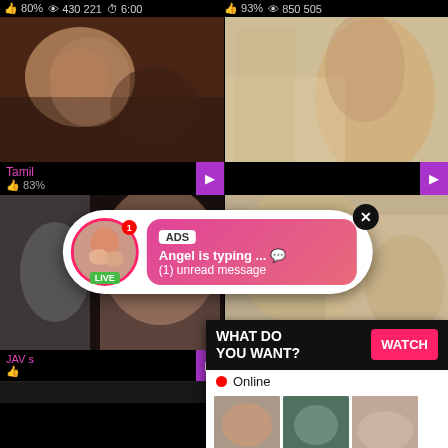[Figure (screenshot): Adult video website screenshot with thumbnails, stat bars showing percentages and view counts, and two ad overlays. Top ad: chat notification from 'Angel'. Bottom ad: 'What Do You Want? WATCH' with thumbnail images and text 'Cumming, ass fucking, squirt or...']
80% 430 221 6:00
93% 850 505
Tamil
83%
ADS Angel is typing ... 💬 (1) unread message
LIVE
JAV s
80% 765 223
81% 857 796 7:00
WHAT DO YOU WANT?
WATCH
Online
Cumming, ass fucking, squirt or...
• ADS